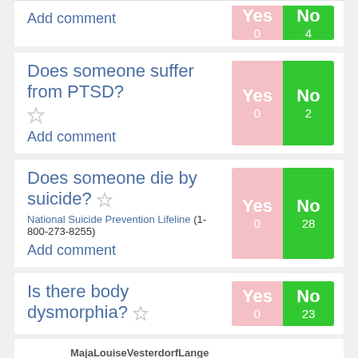Add comment | Yes 0 | No 4
Does someone suffer from PTSD? | Yes 0 | No 2 | Add comment
Does someone die by suicide? National Suicide Prevention Lifeline (1-800-273-8255) | Yes 0 | No 28 | Add comment
Is there body dysmorphia? | Yes 0 | No 23
MajaLouiseVesterdorfLange
9
No, but there may be triggers. I'm copy-pasting someone else's well-phrased comment to another question: "Numerous references that a teen girl needs to lose weight and/or be shaped appropriately by restrictive women's clothing. The teen in question rejects this viewpoint, except when